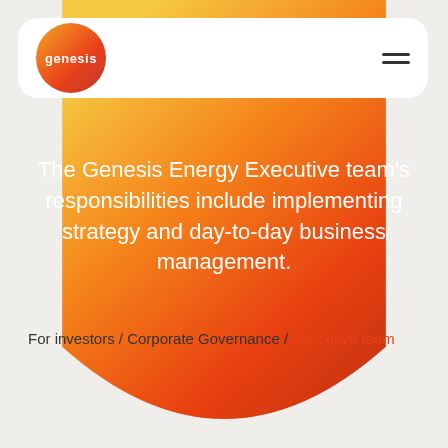[Figure (logo): Genesis Energy logo — orange-red gradient circle with white 'genesis' text]
The Genesis Energy Executive team's responsibilities include implementing strategy and day-to-day business management.
For investors / Corporate Governance / Executive team